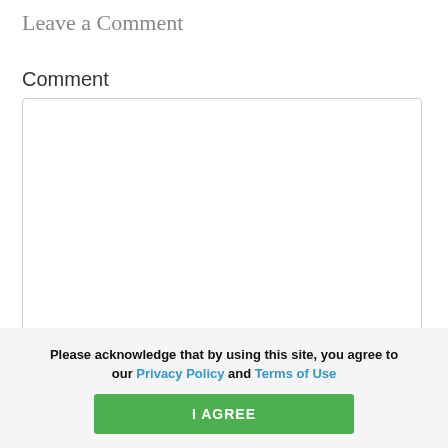Leave a Comment
Comment
[Figure (other): Empty comment text input box with rounded border]
This website stores cookies on your computer. These cookies are used to improve your website experience and provide more personalized services to you, both on this website and through other media. To find out more about the cookies we use, see our Privacy Policy.
We won't track your information when you visit our site. But in order to comply with your
Please acknowledge that by using this site, you agree to our Privacy Policy and Terms of Use
I AGREE